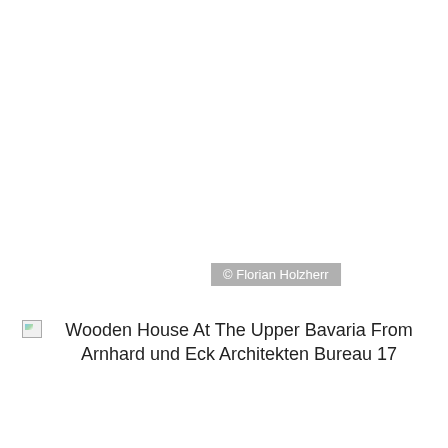[Figure (photo): Large photograph area (blank/missing) with copyright watermark '© Florian Holzherr' overlaid in grey banner]
Wooden House At The Upper Bavaria From Arnhard und Eck Architekten Bureau 17